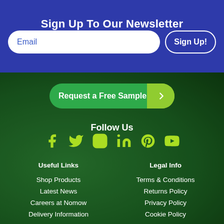Sign Up To Our Newsletter
Email
Sign Up!
Request a Free Sample
Follow Us
[Figure (infographic): Social media icons: Facebook, Twitter, Instagram, LinkedIn, Pinterest, YouTube in yellow-green color]
Useful Links
Shop Products
Latest News
Careers at Nomow
Delivery Information
Legal Info
Terms & Conditions
Returns Policy
Privacy Policy
Cookie Policy